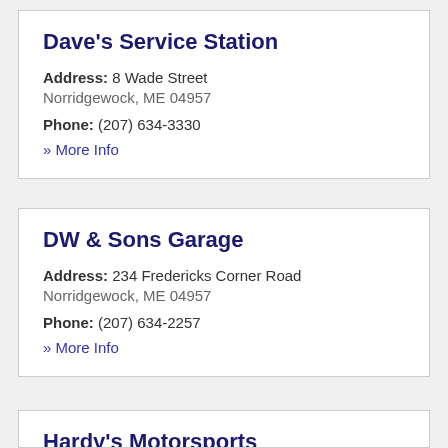Dave's Service Station
Address: 8 Wade Street
Norridgewock, ME 04957
Phone: (207) 634-3330
» More Info
DW & Sons Garage
Address: 234 Fredericks Corner Road
Norridgewock, ME 04957
Phone: (207) 634-2257
» More Info
Hardy's Motorsports